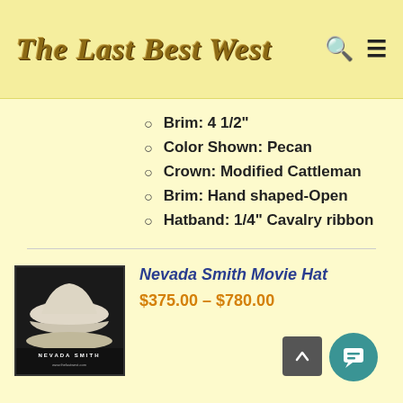The Last Best West
Brim: 4 1/2"
Color Shown: Pecan
Crown: Modified Cattleman
Brim: Hand shaped-Open
Hatband: 1/4" Cavalry ribbon
[Figure (photo): Photo of Nevada Smith cowboy hats, white hats displayed with Nevada Smith label text at bottom]
Nevada Smith Movie Hat
$375.00 – $780.00